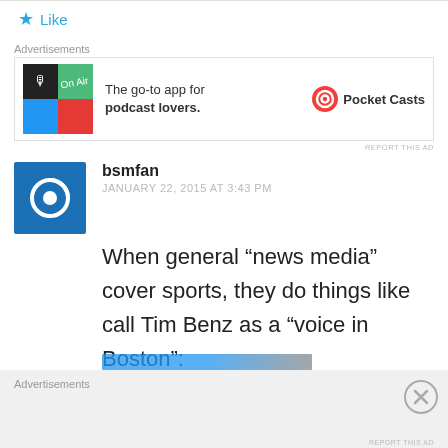Like
Advertisements
[Figure (screenshot): Pocket Casts advertisement: logo image on left, text 'The go-to app for podcast lovers.' in center, Pocket Casts brand logo on right]
REPORT THIS AD
bsmfan
JANUARY 22, 2015 AT 3:43 PM
When general “news media” cover sports, they do things like call Tim Benz as a “voice in Boston":
Advertisements
REPORT THIS AD